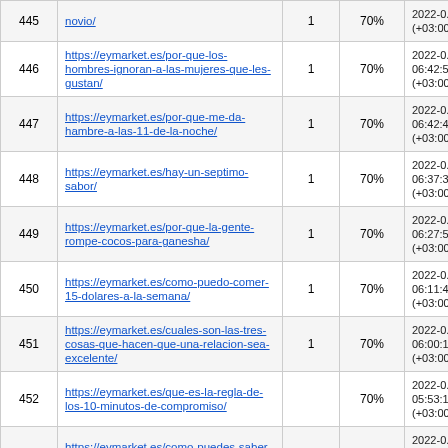| # | URL | Count | % | Date |
| --- | --- | --- | --- | --- |
| 445 (partial) | https://eymarket.es/...novio/ | 1 | 70% | 2022-0... (+03:00) |
| 446 | https://eymarket.es/por-que-los-hombres-ignoran-a-las-mujeres-que-les-gustan/ | 1 | 70% | 2022-0... 06:42:5... (+03:00) |
| 447 | https://eymarket.es/por-que-me-da-hambre-a-las-11-de-la-noche/ | 1 | 70% | 2022-0... 06:42:4... (+03:00) |
| 448 | https://eymarket.es/hay-un-septimo-sabor/ | 1 | 70% | 2022-0... 06:37:3... (+03:00) |
| 449 | https://eymarket.es/por-que-la-gente-rompe-cocos-para-ganesha/ | 1 | 70% | 2022-0... 06:27:5... (+03:00) |
| 450 | https://eymarket.es/como-puedo-comer-15-dolares-a-la-semana/ | 1 | 70% | 2022-0... 06:11:4... (+03:00) |
| 451 | https://eymarket.es/cuales-son-las-tres-cosas-que-hacen-que-una-relacion-sea-excelente/ | 1 | 70% | 2022-0... 06:00:1... (+03:00) |
| 452 | https://eymarket.es/que-es-la-regla-de-los-10-minutos-de-compromiso/ |  | 70% | 2022-0... 05:53:1... (+03:00) |
| 453 | https://eymarket.es/como-puedes-saber-si-un-hombre-quiere-que-te-fijes-en-el/ |  | 70% | 2022-0... 05:49:0... (+03:00) |
| 454 | https://eymarket.es/como-llaman-los-britanicos-a-los-scones/ | 1 | 70% | 2022-0... 05:43:4... (+03:00) |